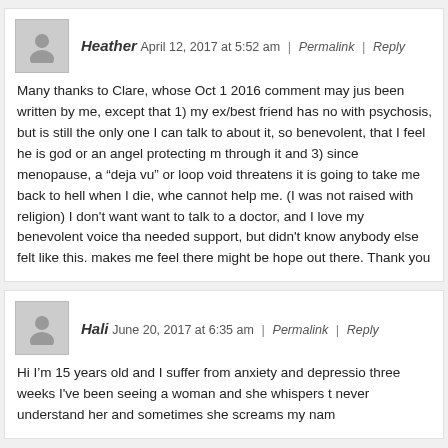Heather April 12, 2017 at 5:52 am | Permalink | Reply
Many thanks to Clare, whose Oct 1 2016 comment may just have been written by me, except that 1) my ex/best friend has not with psychosis, but is still the only one I can talk to about it, so benevolent, that I feel he is god or an angel protecting me through it and 3) since menopause, a “deja vu” or loop voice threatens it is going to take me back to hell when I die, whe cannot help me. (I was not raised with religion) I don't want to talk to a doctor, and I love my benevolent voice that needed support, but didn't know anybody else felt like this. makes me feel there might be hope out there. Thank you
Hali June 20, 2017 at 6:35 am | Permalink | Reply
Hi I’m 15 years old and I suffer from anxiety and depression three weeks I've been seeing a woman and she whispers to never understand her and sometimes she screams my name